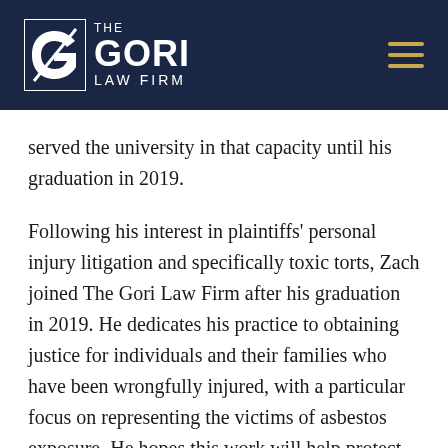THE GORI LAW FIRM
served the university in that capacity until his graduation in 2019.
Following his interest in plaintiffs' personal injury litigation and specifically toxic torts, Zach joined The Gori Law Firm after his graduation in 2019. He dedicates his practice to obtaining justice for individuals and their families who have been wrongfully injured, with a particular focus on representing the victims of asbestos exposure. He hopes this work will help protect workers, patients, and the public in general from similar injurious